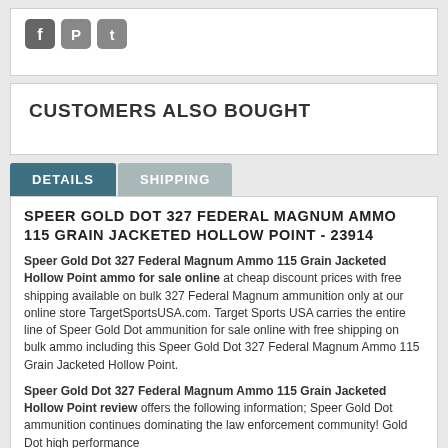[Figure (other): Social media icons: Facebook, Pinterest, Twitter]
CUSTOMERS ALSO BOUGHT
DETAILS | SHIPPING (tabs)
SPEER GOLD DOT 327 FEDERAL MAGNUM AMMO 115 GRAIN JACKETED HOLLOW POINT - 23914
Speer Gold Dot 327 Federal Magnum Ammo 115 Grain Jacketed Hollow Point ammo for sale online at cheap discount prices with free shipping available on bulk 327 Federal Magnum ammunition only at our online store TargetSportsUSA.com. Target Sports USA carries the entire line of Speer Gold Dot ammunition for sale online with free shipping on bulk ammo including this Speer Gold Dot 327 Federal Magnum Ammo 115 Grain Jacketed Hollow Point.
Speer Gold Dot 327 Federal Magnum Ammo 115 Grain Jacketed Hollow Point review offers the following information; Speer Gold Dot ammunition continues dominating the law enforcement community! Gold Dot high performance